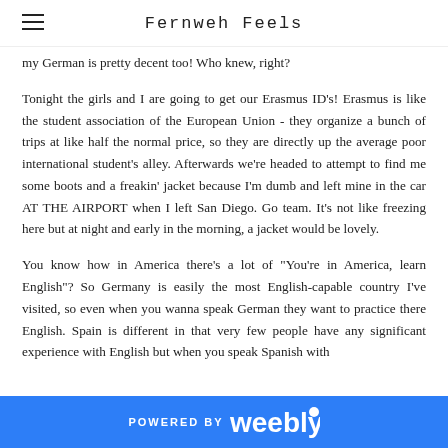Fernweh Feels
my German is pretty decent too! Who knew, right?
Tonight the girls and I are going to get our Erasmus ID's! Erasmus is like the student association of the European Union - they organize a bunch of trips at like half the normal price, so they are directly up the average poor international student's alley. Afterwards we're headed to attempt to find me some boots and a freakin' jacket because I'm dumb and left mine in the car AT THE AIRPORT when I left San Diego. Go team. It's not like freezing here but at night and early in the morning, a jacket would be lovely.
You know how in America there's a lot of "You're in America, learn English"? So Germany is easily the most English-capable country I've visited, so even when you wanna speak German they want to practice there English. Spain is different in that very few people have any significant experience with English but when you speak Spanish with
POWERED BY weebly